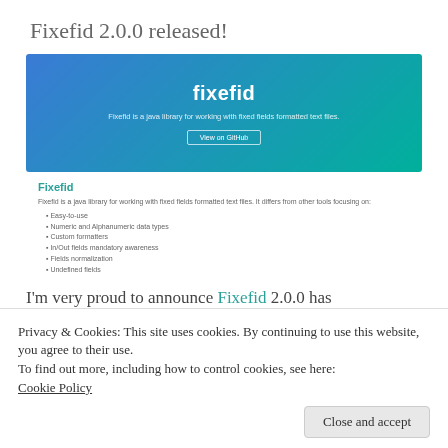Fixefid 2.0.0 released!
[Figure (screenshot): Screenshot of the Fixefid GitHub/website banner with gradient blue-to-green background showing the fixefid logo, subtitle text, and a 'View on GitHub' button]
Fixefid
Fixefid is a java library for working with fixed fields formatted text files. It differs from other tools focusing on:
Easy-to-use
Numeric and Alphanumeric data types
Custom formatters
In/Out fields mandatory awareness
Fields normalization
Undefined fields
I'm very proud to announce Fixefid 2.0.0 has
Privacy & Cookies: This site uses cookies. By continuing to use this website, you agree to their use.
To find out more, including how to control cookies, see here: Cookie Policy
Close and accept